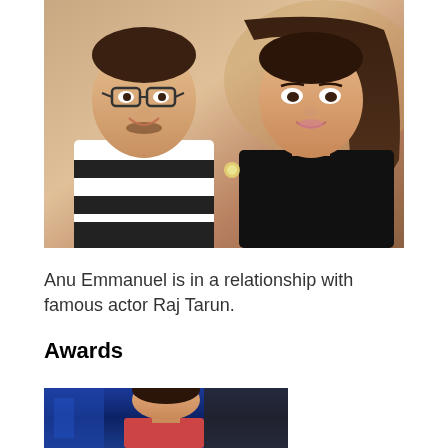[Figure (photo): Photo of a young man wearing glasses and a black-and-white striped t-shirt posing with a young woman in a black outfit, both smiling closely together.]
Anu Emmanuel is in a relationship with famous actor Raj Tarun.
Awards
[Figure (photo): Photo of a woman (likely Anu Emmanuel) at an awards event, partially cropped, with a blue-lit background.]